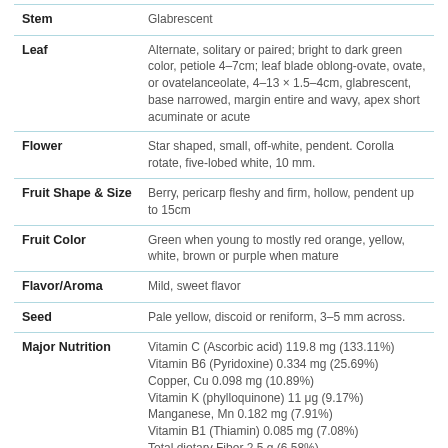| Property | Description |
| --- | --- |
| Stem | Glabrescent |
| Leaf | Alternate, solitary or paired; bright to dark green color, petiole 4–7cm; leaf blade oblong-ovate, ovate, or ovatelanceolate, 4–13 × 1.5–4cm, glabrescent, base narrowed, margin entire and wavy, apex short acuminate or acute |
| Flower | Star shaped, small, off-white, pendent. Corolla rotate, five-lobed white, 10 mm. |
| Fruit Shape & Size | Berry, pericarp fleshy and firm, hollow, pendent up to 15cm |
| Fruit Color | Green when young to mostly red orange, yellow, white, brown or purple when mature |
| Flavor/Aroma | Mild, sweet flavor |
| Seed | Pale yellow, discoid or reniform, 3–5 mm across. |
| Major Nutrition | Vitamin C (Ascorbic acid) 119.8 mg (133.11%)
Vitamin B6 (Pyridoxine) 0.334 mg (25.69%)
Copper, Cu 0.098 mg (10.89%)
Vitamin K (phylloquinone) 11 μg (9.17%)
Manganese, Mn 0.182 mg (7.91%)
Vitamin B1 (Thiamin) 0.085 mg (7.08%)
Total dietary Fiber 2.5 g (6.58%) |